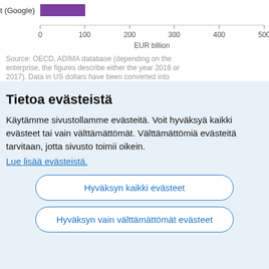[Figure (bar-chart): Partial bar chart showing Alphabet (Google) as a purple bar on a horizontal axis from 0 to 500 EUR billion. The bar extends to approximately 100.]
Source: OECD, ADIMA database (depending on the enterprise, the figures describe either the year 2016 or 2017). Data in US dollars have been converted into
Tietoa evästeistä
Käytämme sivustollamme evästeitä. Voit hyväksyä kaikki evästeet tai vain välttämättömät. Välttämättömiä evästeitä tarvitaan, jotta sivusto toimii oikein.
Lue lisää evästeistä.
Hyväksyn kaikki evästeet
Hyväksyn vain välttämättömät evästeet